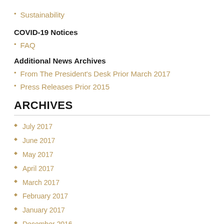Sustainability
COVID-19 Notices
FAQ
Additional News Archives
From The President's Desk Prior March 2017
Press Releases Prior 2015
ARCHIVES
July 2017
June 2017
May 2017
April 2017
March 2017
February 2017
January 2017
December 2016
November 2016